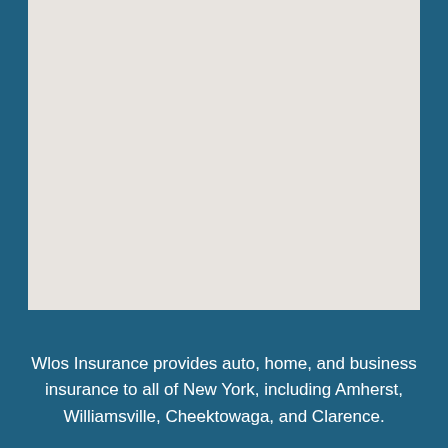[Figure (map): A light-colored map (gray/beige tones) showing a geographic region, likely New York state or the Buffalo/Western New York area, displayed as a blank/outline map with muted coloring.]
Wlos Insurance provides auto, home, and business insurance to all of New York, including Amherst, Williamsville, Cheektowaga, and Clarence.